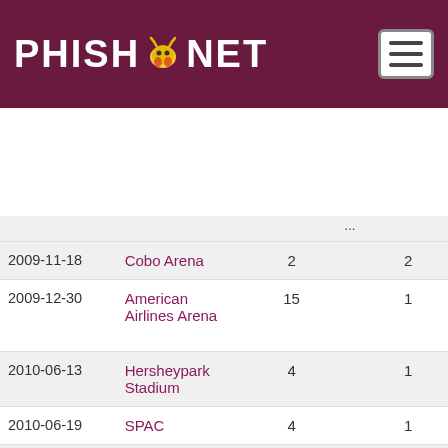PHISH.NET
| Date | Venue | Col3 | Col4 | Song | Next |
| --- | --- | --- | --- | --- | --- |
|  | ... |  |  |  |  |
| 2009-11-18 | Cobo Arena | 2 | 2 | *** | DwD |
| 2009-12-30 | American Airlines Arena | 15 | 1 | Soul Shakedown Party | JJLC |
| 2010-06-13 | Hersheypark Stadium | 4 | 1 | Funky Bitch | > NIC |
| 2010-06-19 | SPAC | 4 | 1 | Funky Bitch > | Ya M |
| 2010-06-25 | Susquehanna Bank Center | 4 | 1 | BBFCFM | Army |
| 2010-07-01 | Walnut Creek | 4 | 1 | Water in the Sky | > Mo |
| 2010-08-12 | Verizon Wireless | 9 | 1 | *** | > PY |